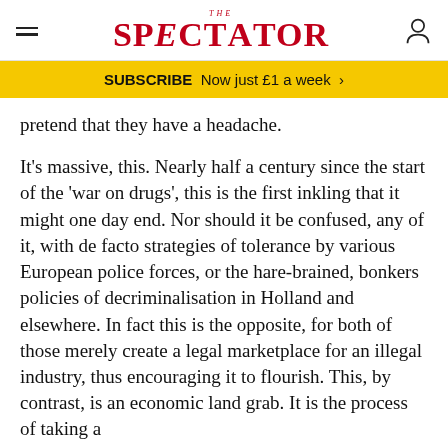THE SPECTATOR
SUBSCRIBE  Now just £1 a week  >
pretend that they have a headache.
It's massive, this. Nearly half a century since the start of the 'war on drugs', this is the first inkling that it might one day end. Nor should it be confused, any of it, with de facto strategies of tolerance by various European police forces, or the hare-brained, bonkers policies of decriminalisation in Holland and elsewhere. In fact this is the opposite, for both of those merely create a legal marketplace for an illegal industry, thus encouraging it to flourish. This, by contrast, is an economic land grab. It is the process of taking a